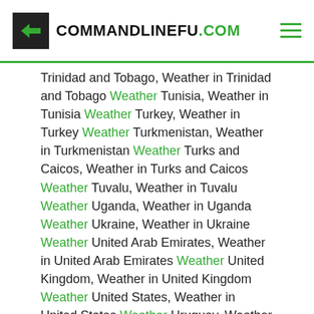COMMANDLINEFU.COM
Trinidad and Tobago, Weather in Trinidad and Tobago Weather Tunisia, Weather in Tunisia Weather Turkey, Weather in Turkey Weather Turkmenistan, Weather in Turkmenistan Weather Turks and Caicos, Weather in Turks and Caicos Weather Tuvalu, Weather in Tuvalu Weather Uganda, Weather in Uganda Weather Ukraine, Weather in Ukraine Weather United Arab Emirates, Weather in United Arab Emirates Weather United Kingdom, Weather in United Kingdom Weather United States, Weather in United States Weather Uruguay, Weather in Uruguay Weather Uzbekistan, Weather in Uzbekistan Weather Vanuatu, Weather in Vanuatu Weather Vatican City, Weather in Vatican City Weather Venezuela, Weather in Venezuela Weather Vietnam, Weather in Vietnam Weather Virgin Islands, British, Weather in Virgin Islands, British Weather Virgin Islands, US, Weather in Virgin Islands,